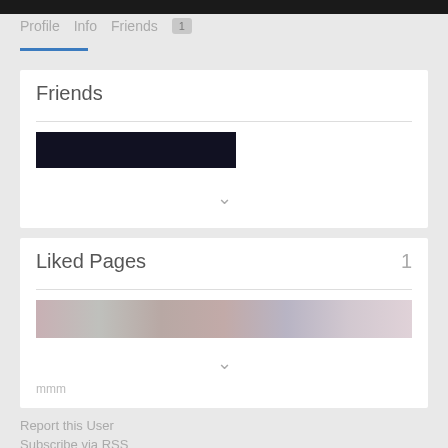Profile  Info  Friends 1
Friends
[Figure (photo): Dark blurred banner image in Friends card]
Liked Pages  1
[Figure (photo): Blurred strip photo in Liked Pages card, showing hair/people]
Report this User
Subscribe via RSS
Martin Chart shared
[Figure (photo): Small dark avatar thumbnail]